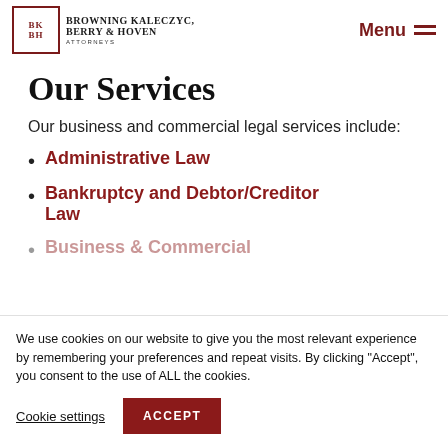employment policies to help minimize employee lawsuits.
[Figure (logo): Browning Kaleczyc Berry & Hoven Attorneys logo with BKBH initials in red bordered box]
Our Services
Our business and commercial legal services include:
Administrative Law
Bankruptcy and Debtor/Creditor Law
Business & Commercial (partial)
We use cookies on our website to give you the most relevant experience by remembering your preferences and repeat visits. By clicking “Accept”, you consent to the use of ALL the cookies.
Cookie settings   ACCEPT